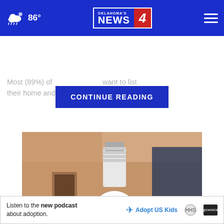86° Oklahoma's News 4
Most (89%) of [obscured] want to list their home and [obscured] documentation.
CONTINUE READING
[Figure (photo): A lightbulb-shaped security camera with a white body and camera lens with LED lights visible, sitting in an interior room setting with blurred background.]
This Lightbulb Security Camera is Sweeping Ashburn Now!-Today 60%
Listen to the new podcast about adoption. Adopt US Kids [ad]